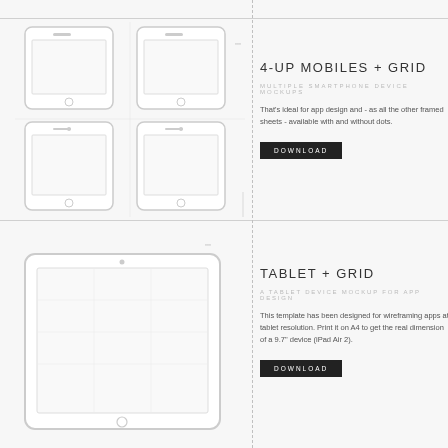[Figure (illustration): 4-up mobile phone wireframe mockups arranged in 2x2 grid with grid lines overlay]
4-UP MOBILES + GRID
MULTIPLE SMARTPHONE DEVICE MOCKUPS
That's ideal for app design and - as all the other framed sheets - available with and without dots.
[Figure (illustration): Tablet wireframe mockup with grid overlay]
TABLET + GRID
A TABLET DEVICE MOCKUP FOR APP DESIGN
This template has been designed for wireframing apps at tablet resolution. Print it on A4 to get the real dimension of a 9.7" device (iPad Air 2).